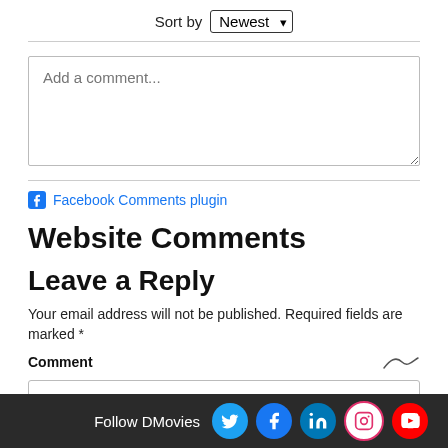Sort by Newest
Add a comment...
Facebook Comments plugin
Website Comments
Leave a Reply
Your email address will not be published. Required fields are marked *
Comment
Follow DMovies